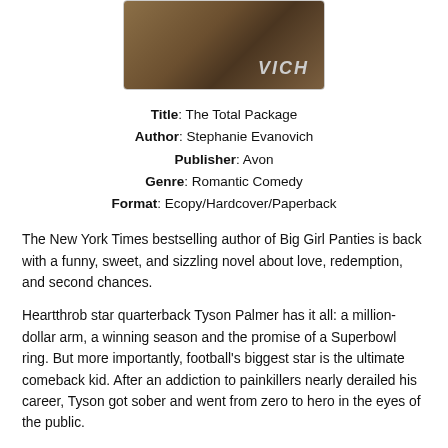[Figure (photo): Partial view of a book cover with the letters 'VICH' visible on a brown/dark background, shown as a 3D book spine/cover image inside a rounded rectangle border.]
Title: The Total Package
Author: Stephanie Evanovich
Publisher: Avon
Genre: Romantic Comedy
Format: Ecopy/Hardcover/Paperback
The New York Times bestselling author of Big Girl Panties is back with a funny, sweet, and sizzling novel about love, redemption, and second chances.
Heartthrob star quarterback Tyson Palmer has it all: a million-dollar arm, a winning season and the promise of a Superbowl ring. But more importantly, football's biggest star is the ultimate comeback kid. After an addiction to painkillers nearly derailed his career, Tyson got sober and went from zero to hero in the eyes of the public.
But one person remains unconvinced: Dani Carr, a sports commentator with high ratings and following of her own.